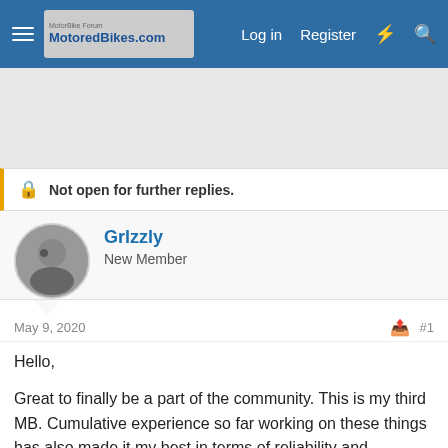MotoredBikes.com — Log in  Register
Not open for further replies.
Grlzzly
New Member
May 9, 2020   #1
Hello,

Great to finally be a part of the community. This is my third MB. Cumulative experience so far working on these things has also made it my best in terms of reliability and smoothness of operation. Wanna share my findings and learn anything I can to increase performance.

I am mostly done at this point. But there is room to...